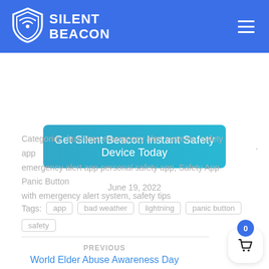[Figure (logo): Silent Beacon logo: shield icon with wifi symbol and text SILENT BEACON on blue header background]
Get Silent Beacon Instant Safety Device Today
Categories: business emergency alert systems, safety app emergency alert app personal safety app, Safety App Panic Button with emergency alert system, safety tips
June 19, 2022
Tags: app  bad weather  lightning  panic button  safety
PREVIOUS
World Elder Abuse Awareness Day